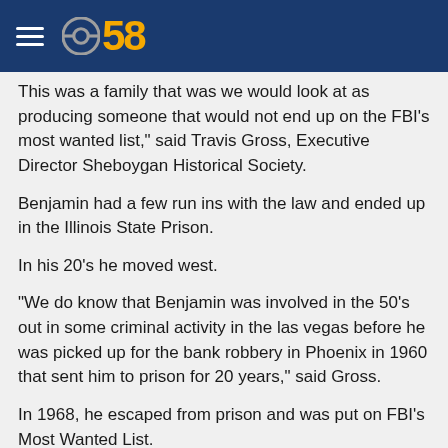CBS 58
This was a family that was we would look at as producing someone that would not end up on the FBI's most wanted list," said Travis Gross, Executive Director Sheboygan Historical Society.
Benjamin had a few run ins with the law and ended up in the Illinois State Prison.
In his 20's he moved west.
"We do know that Benjamin was involved in the 50's out in some criminal activity in the las vegas before he was picked up for the bank robbery in Phoenix in 1960 that sent him to prison for 20 years," said Gross.
In 1968, he escaped from prison and was put on FBI's Most Wanted List.